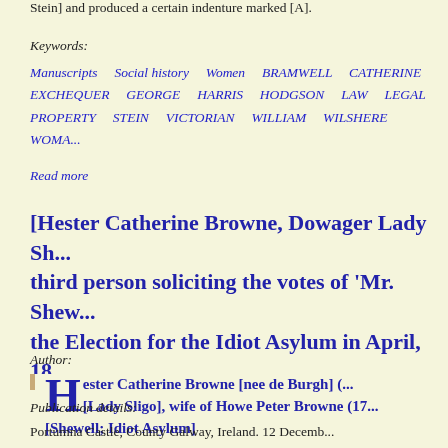Stein] and produced a certain indenture marked [A].
Keywords:
Manuscripts   Social history   Women   BRAMWELL   CATHERINE   EXCHEQUER   GEORGE   HARRIS   HODGSON   LAW   LEGAL   PROPERTY   STEIN   VICTORIAN   WILLIAM   WILSHERE   WOMA...
Read more
[Hester Catherine Browne, Dowager Lady Sh... third person soliciting the votes of 'Mr. Shew... the Election for the Idiot Asylum in April, 18...
Author:
Hester Catherine Browne [nee de Burgh] (... [Lady Sligo], wife of Howe Peter Browne (17... [Shewell; Idiot Asylum]
Publication details:
Portumna Castle, County Galway, Ireland. 12 Decemb...